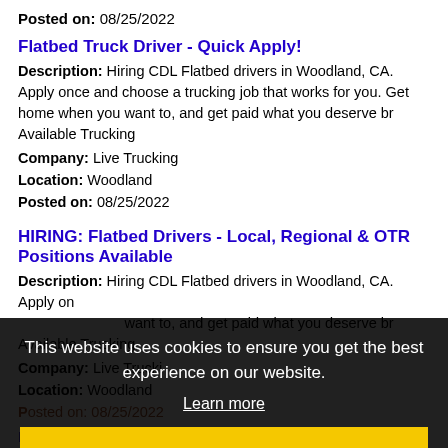Posted on: 08/25/2022
Flatbed Truck Driver - Quick Apply!
Description: Hiring CDL Flatbed drivers in Woodland, CA. Apply once and choose a trucking job that works for you. Get home when you want to, and get paid what you deserve br Available Trucking
Company: Live Trucking
Location: Woodland
Posted on: 08/25/2022
HIRING: Flatbed Drivers - Local, Regional & OTR Positions Available
Description: Hiring CDL Flatbed drivers in Woodland, CA. Apply once and choose a trucking job that works for you. Get home when you want to, and get paid what you deserve br Available Trucking
Company: Live Trucking
Location: Woodland
Posted on: 08/25/2022
[Figure (screenshot): Cookie consent overlay with dark background. Text: 'This website uses cookies to ensure you get the best experience on our website.' with 'Learn more' link and a yellow 'Got it!' button.]
Retail Customer Service Associate
Description: POSITION SUMMARY: br The Store Consultant consistently delivers a positive customer experience to all